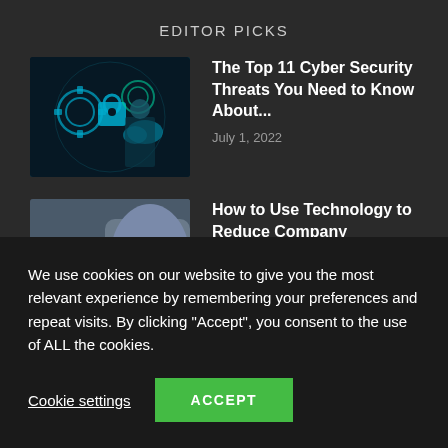EDITOR PICKS
The Top 11 Cyber Security Threats You Need to Know About...
July 1, 2022
How to Use Technology to Reduce Company Expenses
May 12, 2022
Understanding Important Regulations and...
We use cookies on our website to give you the most relevant experience by remembering your preferences and repeat visits. By clicking “Accept”, you consent to the use of ALL the cookies.
Cookie settings
ACCEPT